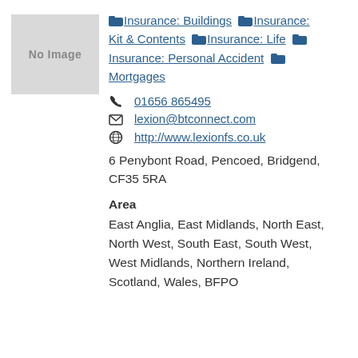[Figure (other): No Image placeholder box]
Insurance: Buildings  Insurance: Kit & Contents  Insurance: Life  Insurance: Personal Accident  Mortgages
01656 865495
lexion@btconnect.com
http://www.lexionfs.co.uk
6 Penybont Road, Pencoed, Bridgend, CF35 5RA
Area
East Anglia, East Midlands, North East, North West, South East, South West, West Midlands, Northern Ireland, Scotland, Wales, BFPO